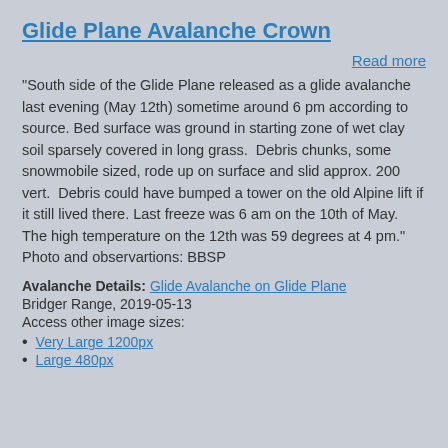Glide Plane Avalanche Crown
Read more
"South side of the Glide Plane released as a glide avalanche last evening (May 12th) sometime around 6 pm according to source. Bed surface was ground in starting zone of wet clay soil sparsely covered in long grass.  Debris chunks, some snowmobile sized, rode up on surface and slid approx. 200 vert.  Debris could have bumped a tower on the old Alpine lift if it still lived there. Last freeze was 6 am on the 10th of May.  The high temperature on the 12th was 59 degrees at 4 pm." Photo and observartions: BBSP
Avalanche Details: Glide Avalanche on Glide Plane
Bridger Range, 2019-05-13
Access other image sizes:
Very Large 1200px
Large 480px